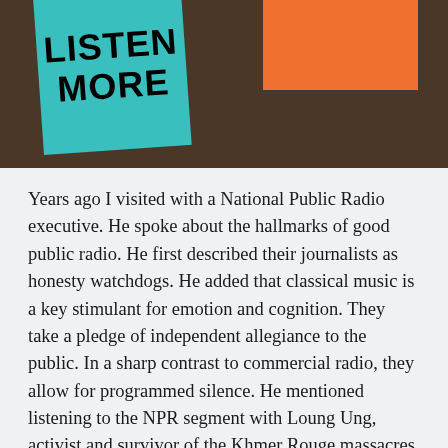[Figure (photo): Photo of two sticky notes on a dark brown wooden surface. A teal/turquoise sticky note angled slightly, reads 'LISTEN MORE' in bold black text. An orange sticky note is partially visible in the upper right corner.]
Years ago I visited with a National Public Radio executive. He spoke about the hallmarks of good public radio. He first described their journalists as honesty watchdogs. He added that classical music is a key stimulant for emotion and cognition. They take a pledge of independent allegiance to the public. In a sharp contrast to commercial radio, they allow for programmed silence. He mentioned listening to the NPR segment with Loung Ung, activist and survivor of the Khmer Rouge massacres in Cambodia in the 1970s, during which both of her parents were slain. When the